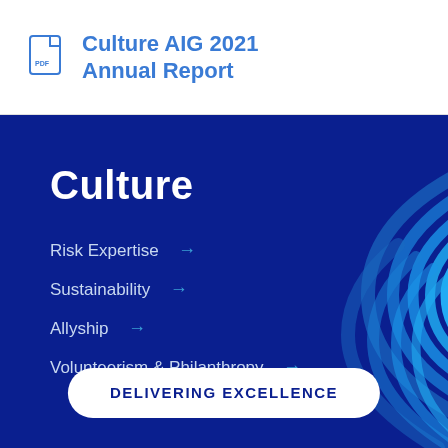Culture AIG 2021 Annual Report
Culture
Risk Expertise →
Sustainability →
Allyship →
Volunteerism & Philanthropy →
DELIVERING EXCELLENCE